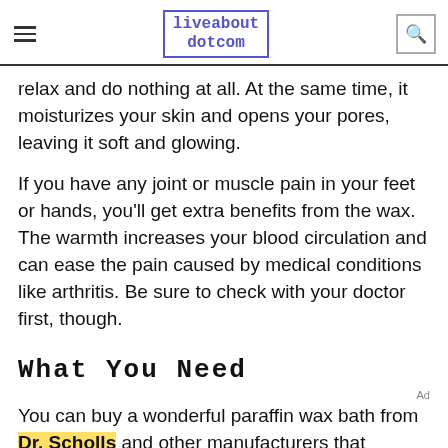liveabout dotcom
relax and do nothing at all. At the same time, it moisturizes your skin and opens your pores, leaving it soft and glowing.
If you have any joint or muscle pain in your feet or hands, you'll get extra benefits from the wax. The warmth increases your blood circulation and can ease the pain caused by medical conditions like arthritis. Be sure to check with your doctor first, though.
What You Need
You can buy a wonderful paraffin wax bath from Dr. Scholls and other manufacturers that includes